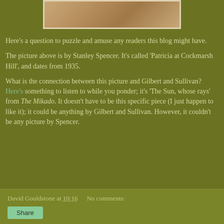[Figure (photo): Partial view of a painting by Stanley Spencer — 'Patricia at Cockmarsh Hill', 1935 — showing warm earthy tones, appears to be a cropped top portion of the image.]
Here's a question to puzzle and amuse any readers this blog might have.
The picture above is by Stanley Spencer. It's called 'Patricia at Cockmarsh Hill', and dates from 1935.
What is the connection between this picture and Gilbert and Sullivan? Here's something to listen to while you ponder; it's 'The Sun, whose rays' from The Mikado. It doesn't have to be this specific piece (I just happen to like it); it could be anything by Gilbert and Sullivan. However, it couldn't be any picture by Spencer.
David Gouldstone at 10:16   No comments:   Share